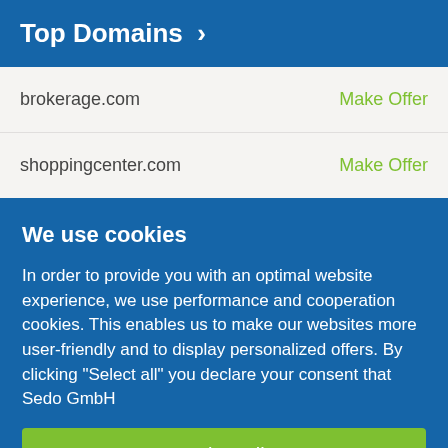Top Domains >
| Domain | Action |
| --- | --- |
| brokerage.com | Make Offer |
| shoppingcenter.com | Make Offer |
We use cookies
In order to provide you with an optimal website experience, we use performance and cooperation cookies. This enables us to make our websites more user-friendly and to display personalized offers. By clicking "Select all" you declare your consent that Sedo GmbH
Select all
Confirm selection